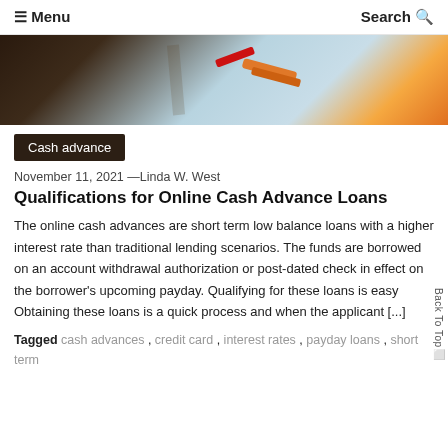☰ Menu   Search
[Figure (photo): Hero image showing a light blue background with an orange pen and red markings, partially visible dark wooden surface on the left.]
Cash advance
November 11, 2021 —Linda W. West
Qualifications for Online Cash Advance Loans
The online cash advances are short term low balance loans with a higher interest rate than traditional lending scenarios. The funds are borrowed on an account withdrawal authorization or post-dated check in effect on the borrower's upcoming payday. Qualifying for these loans is easy Obtaining these loans is a quick process and when the applicant [...]
Tagged cash advances , credit card , interest rates , payday loans , short term